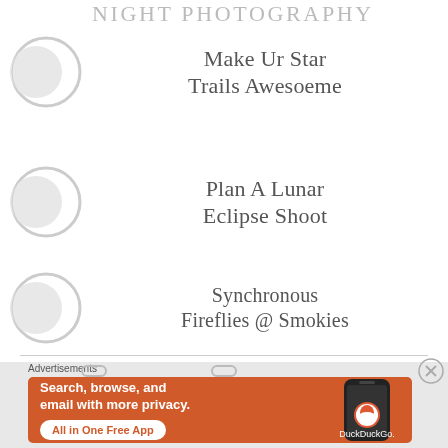NIGHT PHOTOGRAPHY
Make UR Star Trails Awesoeme
Plan A Lunar Eclipse Shoot
Synchronous Fireflies @ Smokies
[Figure (screenshot): DuckDuckGo advertisement banner with orange background showing 'Search, browse, and email with more privacy. All in One Free App' text with phone mockup]